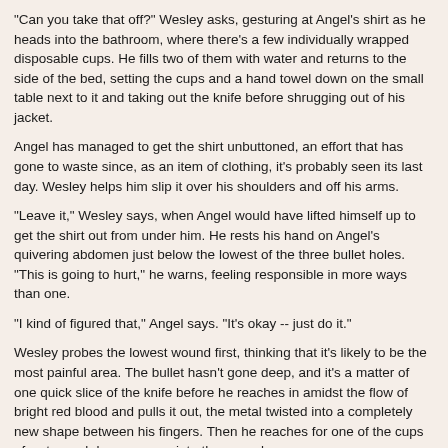"Can you take that off?" Wesley asks, gesturing at Angel's shirt as he heads into the bathroom, where there's a few individually wrapped disposable cups. He fills two of them with water and returns to the side of the bed, setting the cups and a hand towel down on the small table next to it and taking out the knife before shrugging out of his jacket.
Angel has managed to get the shirt unbuttoned, an effort that has gone to waste since, as an item of clothing, it's probably seen its last day. Wesley helps him slip it over his shoulders and off his arms.
"Leave it," Wesley says, when Angel would have lifted himself up to get the shirt out from under him. He rests his hand on Angel's quivering abdomen just below the lowest of the three bullet holes. "This is going to hurt," he warns, feeling responsible in more ways than one.
"I kind of figured that," Angel says. "It's okay -- just do it."
Wesley probes the lowest wound first, thinking that it's likely to be the most painful area. The bullet hasn't gone deep, and it's a matter of one quick slice of the knife before he reaches in amidst the flow of bright red blood and pulls it out, the metal twisted into a completely new shape between his fingers. Then he reaches for one of the cups of water and douses some into the wound.
Angel gives a strangled sort of cry, pressing his lips together immediately afterward as though this will keep any others from escaping. He's glassy eyed and shaking, and for the first time in several years, Wesley feels ill at the thought of someone else's pain.
He clamps down on the feeling -- it won't serve him here, will only make things worse -- and presses the towel to the freshly bleeding wound, soaking up the water and blood both.
"What the fuck was that?" Angel asks after a moment, his voice rough.